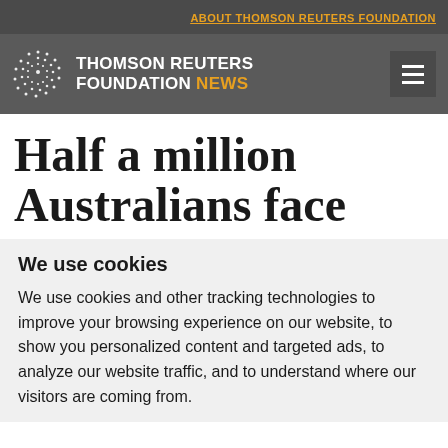ABOUT THOMSON REUTERS FOUNDATION
[Figure (logo): Thomson Reuters Foundation News logo with spiral dot globe icon, white text reading THOMSON REUTERS FOUNDATION and orange text reading NEWS]
Half a million Australians face
We use cookies
We use cookies and other tracking technologies to improve your browsing experience on our website, to show you personalized content and targeted ads, to analyze our website traffic, and to understand where our visitors are coming from.